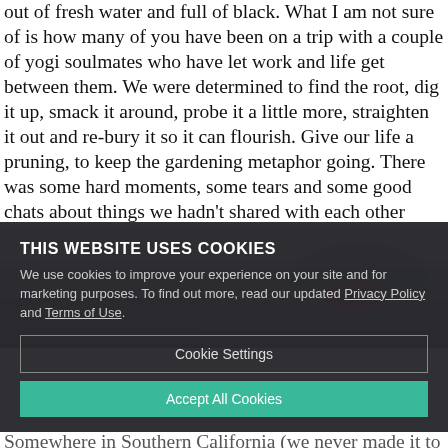out of fresh water and full of black. What I am not sure of is how many of you have been on a trip with a couple of yogi soulmates who have let work and life get between them. We were determined to find the root, dig it up, smack it around, probe it a little more, straighten it out and re-bury it so it can flourish. Give our life a pruning, to keep the gardening metaphor going. There was some hard moments, some tears and some good chats about things we hadn't shared with each other before. We were doing the work, and this alone told me we were on the path to healing. This meant we both cared enough to try harder, and try we did.
[Figure (photo): Partial photo of a person wearing a cap, dark background, overlaid with a cookie consent dialog]
THIS WEBSITE USES COOKIES
We use cookies to improve your experience on your site and for marketing purposes. To find out more, read our updated Privacy Policy and Terms of Use.
Cookie Settings
Accept All Cookies
Somewhere in Southern California (we never made it to Mexico) we found some semblance of our groove. We